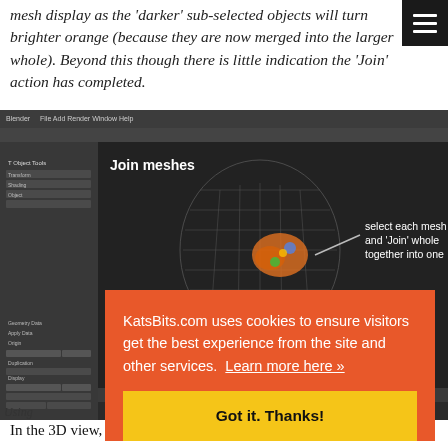mesh display as the 'darker' sub-selected objects will turn brighter orange (because they are now merged into the larger whole). Beyond this though there is little indication the 'Join' action has completed.
[Figure (screenshot): Blender 3D software screenshot showing 'Join meshes' tutorial with annotation: 'select each mesh and Join whole together into one'. A context menu shows 'Move to Layer...' and 'Join' options. The 3D viewport shows a wireframe mesh with colorful objects selected.]
[Figure (screenshot): Cookie consent overlay on KatsBits.com. Orange background with text: 'KatsBits.com uses cookies to ensure visitors get the best experience from the site and other services. Learn more here »' and a yellow button 'Got it. Thanks!']
Using... conn...
In the 3D view, once objects, areas which don't yet (or c... have with... NVM... text continues...